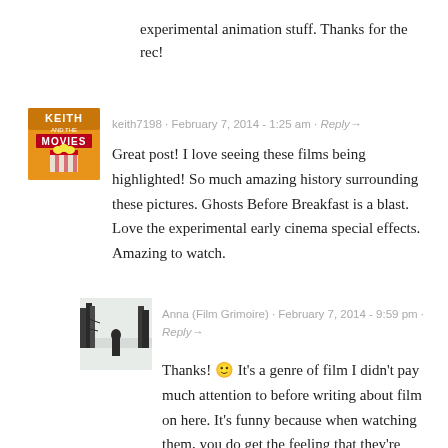experimental animation stuff. Thanks for the rec!
[Figure (photo): Avatar for keith7198 - Keith and the Movies logo, yellow/orange background with popcorn]
keith7198 · February 7, 2014 - 1:25 am · Reply→
Great post! I love seeing these films being highlighted! So much amazing history surrounding these pictures. Ghosts Before Breakfast is a blast. Love the experimental early cinema special effects. Amazing to watch.
[Figure (photo): Avatar for Anna (Film Grimoire) - black and white photo of person in snowy winter landscape]
Anna (Film Grimoire) · February 7, 2014 - 9:59 pm · Reply→
Thanks! 🙂 It's a genre of film I didn't pay much attention to before writing about film on here. It's funny because when watching them, you do get the feeling that they're immensely culturally significant, since they paved the way for so much